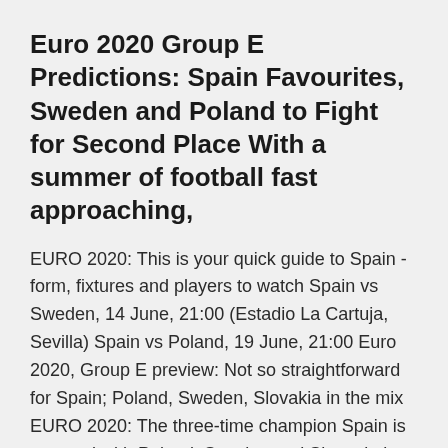Euro 2020 Group E Predictions: Spain Favourites, Sweden and Poland to Fight for Second Place With a summer of football fast approaching,
EURO 2020: This is your quick guide to Spain - form, fixtures and players to watch Spain vs Sweden, 14 June, 21:00 (Estadio La Cartuja, Sevilla) Spain vs Poland, 19 June, 21:00 Euro 2020, Group E preview: Not so straightforward for Spain; Poland, Sweden, Slovakia in the mix EURO 2020: The three-time champion Spain is grouped with Poland, Sweden and Slovenia in what could be a competitive setting for the teams involved.
Team news. Spain are the only team to have